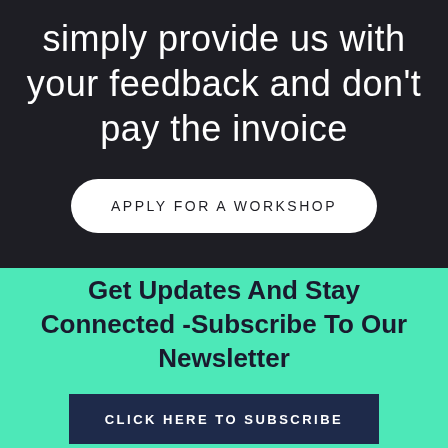simply provide us with your feedback and don't pay the invoice
APPLY FOR A WORKSHOP
Get Updates And Stay Connected -Subscribe To Our Newsletter
CLICK HERE TO SUBSCRIBE